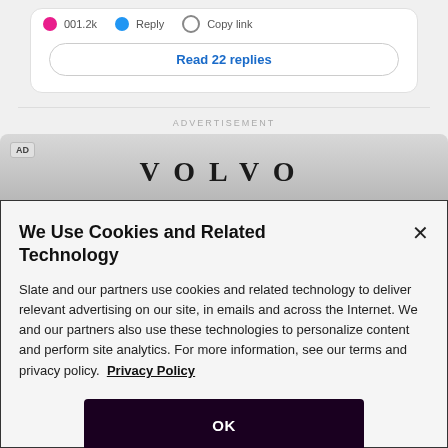Read 22 replies
ADVERTISEMENT
AD
VOLVO
We Use Cookies and Related Technology
Slate and our partners use cookies and related technology to deliver relevant advertising on our site, in emails and across the Internet. We and our partners also use these technologies to personalize content and perform site analytics. For more information, see our terms and privacy policy. Privacy Policy
OK